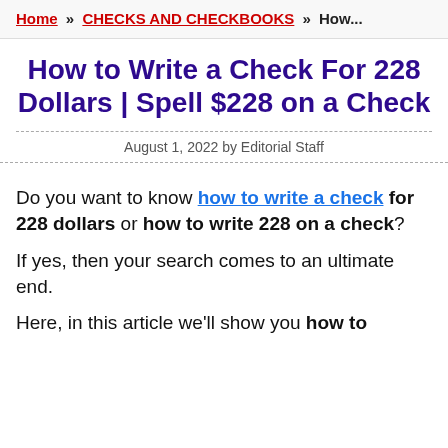Home » CHECKS AND CHECKBOOKS » How...
How to Write a Check For 228 Dollars | Spell $228 on a Check
August 1, 2022 by Editorial Staff
Do you want to know how to write a check for 228 dollars or how to write 228 on a check?
If yes, then your search comes to an ultimate end.
Here, in this article we'll show you how to